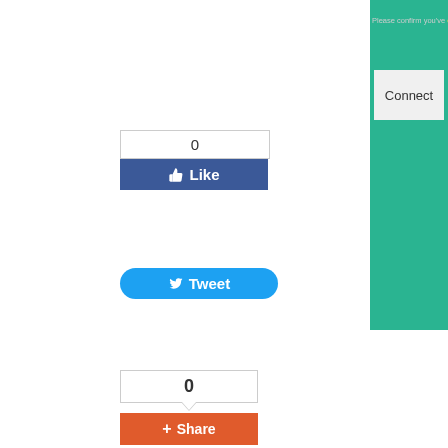[Figure (screenshot): Green UI panel with Connect button and 'Please confirm you've enabled usb de...' text at top right]
[Figure (screenshot): Social sharing buttons: Like (Facebook, count 0), Tweet (Twitter), Share (count 0)]
[Figure (screenshot): After rooting icons: Uninstall APPs (pink trash icon), Unlock Screen (orange Z icon), Flash a R... (blue icon)]
What Is Root Genius
Root Genous is one of competitive rooting solution which was launched around 2... the tool, still it's compatible with Gingerbread – (2.3 – 2.3.7) to Lollipop – (5.0 – really convenient to use. According to the users' experiences, Root Genius works give it a try if you are using another Mediatek device even it is not a Micromax. R compatible with the tool without testing each one separately. But, you can use the tool.
How To Root Android With Root Genius